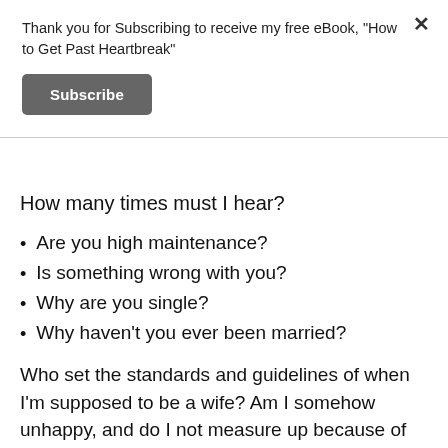Thank you for Subscribing to receive my free eBook, "How to Get Past Heartbreak"
Subscribe
How many times must I hear?
Are you high maintenance?
Is something wrong with you?
Why are you single?
Why haven't you ever been married?
Who set the standards and guidelines of when I'm supposed to be a wife? Am I somehow unhappy, and do I not measure up because of it? I didn't know that my very existence was defined by my relationship status!